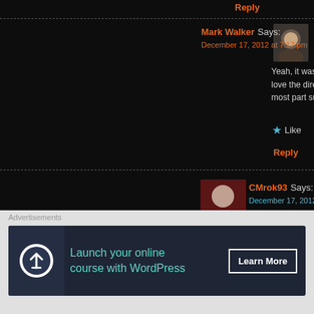Reply
Mark Walker Says:
December 17, 2012 at 7:17 pm
Yeah, it was a good flick Fogs. Holes aplenty but t love the direction that Johnson's stories take. Unc most part successful. It'll be interesting to see wh
★ Like
Reply
CMrok93 Says:
December 17, 2012 at 8:25 pm
Good review Mark. There's a bit of a slip-up in terms of it ac it's always fun and entertaining to watch and I think that was
★ Like
Reply
Mark Walker Says:
December 17, 2012 at 8:31 pm
Advertisements
[Figure (infographic): Advertisement banner: Launch your online course with WordPress - Learn More button, dark navy background with teal icon]